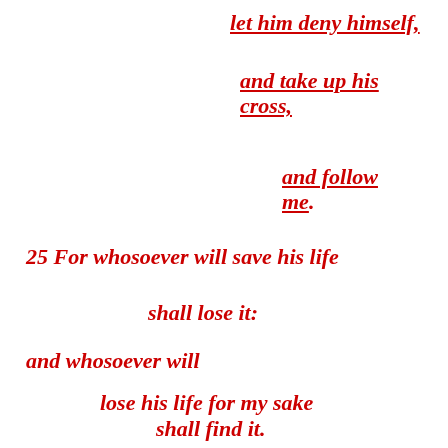let him deny himself,
and take up his cross,
and follow me.
25 For whosoever will save his life
shall lose it:
and whosoever will
lose his life for my sake
shall find it.